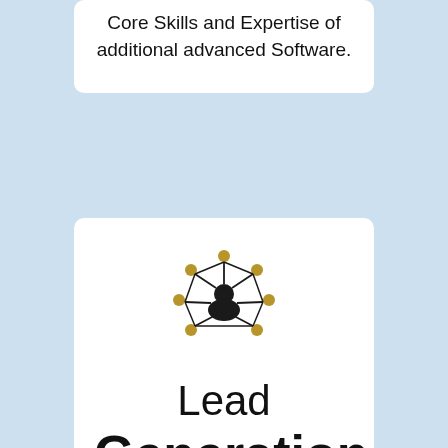Core Skills and Expertise of additional advanced Software.
[Figure (illustration): Network/lead generation icon: a person silhouette in the center with nodes connected around them in a geometric network pattern, rendered in dark color with golden-tan node dots]
Lead Generation